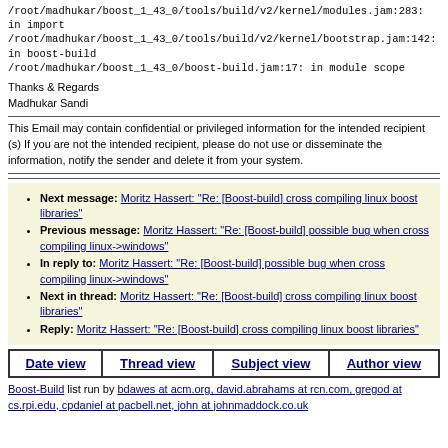/root/madhukar/boost_1_43_0/tools/build/v2/kernel/modules.jam:283: in import
/root/madhukar/boost_1_43_0/tools/build/v2/kernel/bootstrap.jam:142: in boost-build
/root/madhukar/boost_1_43_0/boost-build.jam:17: in module scope
Thanks & Regards
Madhukar Sandi
This Email may contain confidential or privileged information for the intended recipient (s) If you are not the intended recipient, please do not use or disseminate the information, notify the sender and delete it from your system.
Next message: Moritz Hassert: "Re: [Boost-build] cross compiling linux boost libraries"
Previous message: Moritz Hassert: "Re: [Boost-build] possible bug when cross compiling linux->windows"
In reply to: Moritz Hassert: "Re: [Boost-build] possible bug when cross compiling linux->windows"
Next in thread: Moritz Hassert: "Re: [Boost-build] cross compiling linux boost libraries"
Reply: Moritz Hassert: "Re: [Boost-build] cross compiling linux boost libraries"
| Date view | Thread view | Subject view | Author view |
| --- | --- | --- | --- |
Boost-Build list run by bdawes at acm.org, david.abrahams at rcn.com, gregod at cs.rpi.edu, cpdaniel at pacbell.net, john at johnmaddock.co.uk